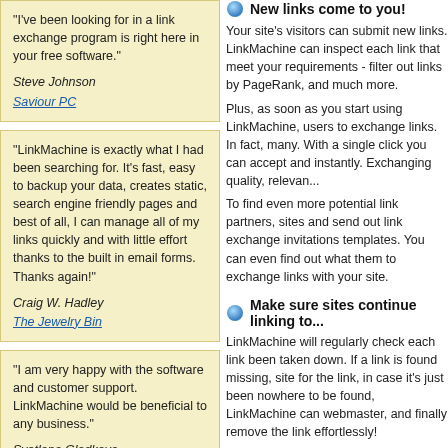"I've been looking for in a link exchange program is right here in your free software."
Steve Johnson
Saviour PC
"LinkMachine is exactly what I had been searching for. It's fast, easy to backup your data, creates static, search engine friendly pages and best of all, I can manage all of my links quickly and with little effort thanks to the built in email forms. Thanks again!"
Craig W. Hadley
The Jewelry Bin
"I am very happy with the software and customer support. LinkMachine would be beneficial to any business."
Svetlana Gladkova
Amadeus Translations
"The LinkMachine program has been more than what I was looking for. Simple, straight forward and easy to install. Customer support has been very responsive too. I'd highly recommend it."
Jim Redington
New links come to you!
Your site's visitors can submit new links. LinkMachine can inspect each link that meet your requirements - filter out links by PageRank, and much more.
Plus, as soon as you start using LinkMachine, users to exchange links. In fact, many. With a single click you can accept and instantly. Exchanging quality, relevant.
To find even more potential link partners, sites and send out link exchange invitations templates. You can even find out what them to exchange links with your site.
Make sure sites continue linking to...
LinkMachine will regularly check each link been taken down. If a link is found missing, site for the link, in case it's just been nowhere to be found, LinkMachine can webmaster, and finally remove the link effortlessly!
Fully customizable
LinkMachine gives you complete control...